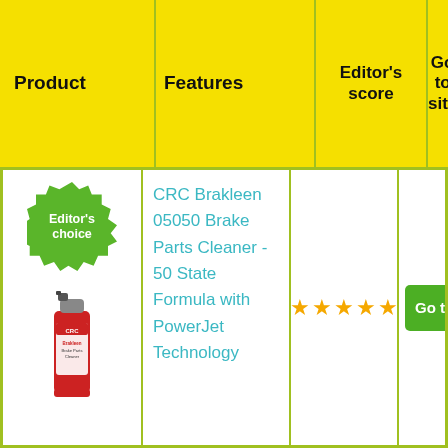| Product | Features | Editor's score | Go to site |
| --- | --- | --- | --- |
| Editor's choice [image of CRC Brakleen can] | CRC Brakleen 05050 Brake Parts Cleaner - 50 State Formula with PowerJet Technology | ★★★★★ | Go to amazon |